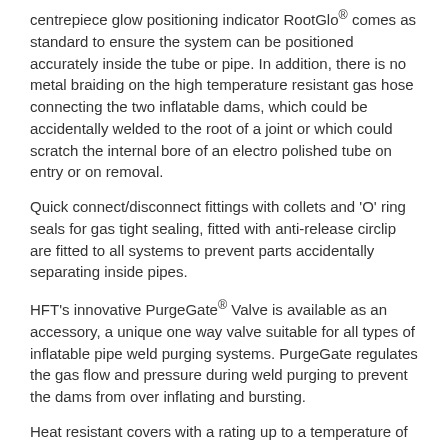centrepiece glow positioning indicator RootGlo® comes as standard to ensure the system can be positioned accurately inside the tube or pipe. In addition, there is no metal braiding on the high temperature resistant gas hose connecting the two inflatable dams, which could be accidentally welded to the root of a joint or which could scratch the internal bore of an electro polished tube on entry or on removal.
Quick connect/disconnect fittings with collets and 'O' ring seals for gas tight sealing, fitted with anti-release circlip are fitted to all systems to prevent parts accidentally separating inside pipes.
HFT's innovative PurgeGate® Valve is available as an accessory, a unique one way valve suitable for all types of inflatable pipe weld purging systems. PurgeGate regulates the gas flow and pressure during weld purging to prevent the dams from over inflating and bursting.
Heat resistant covers with a rating up to a temperature of 300°C are available as accessories to protect the inflatable dams. These are attached with ties sewn into the covers.
By using PurgElite tube and pipe purging systems, companies can save significant amounts of money in both time and inert gas costs.